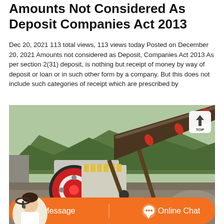Amounts Not Considered As Deposit Companies Act 2013
Dec 20, 2021 113 total views, 113 views today Posted on December 20, 2021 Amounts not considered as Deposit, Companies Act 2013 As per section 2(31) deposit, is nothing but receipt of money by way of deposit or loan or in such other form by a company. But this does not include such categories of receipt which are prescribed by
[Figure (photo): Industrial mining/crushing machinery (jaw crusher) at a quarry site with green mountains in the background. A 'TOP' navigation button is visible in the upper right corner of the image.]